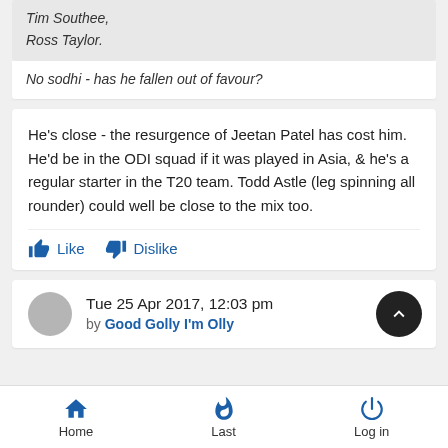Tim Southee,
Ross Taylor.
No sodhi - has he fallen out of favour?
He's close - the resurgence of Jeetan Patel has cost him. He'd be in the ODI squad if it was played in Asia, & he's a regular starter in the T20 team. Todd Astle (leg spinning all rounder) could well be close to the mix too.
Tue 25 Apr 2017, 12:03 pm
by Good Golly I'm Olly
Home  Last  Log in